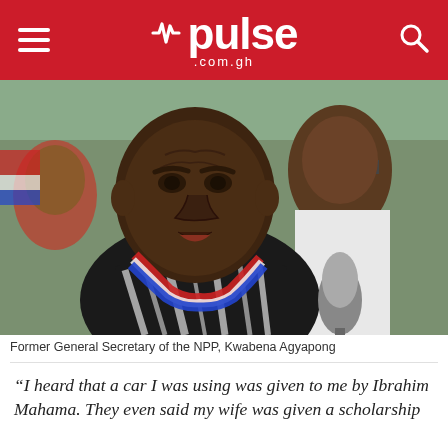pulse .com.gh
[Figure (photo): Former General Secretary of the NPP, Kwabena Agyapong, speaking outdoors wearing a zebra-print outfit and red-blue-white braided garland, with a microphone in front and another man in sunglasses in the background.]
Former General Secretary of the NPP, Kwabena Agyapong
“I heard that a car I was using was given to me by Ibrahim Mahama. They even said my wife was given a scholarship